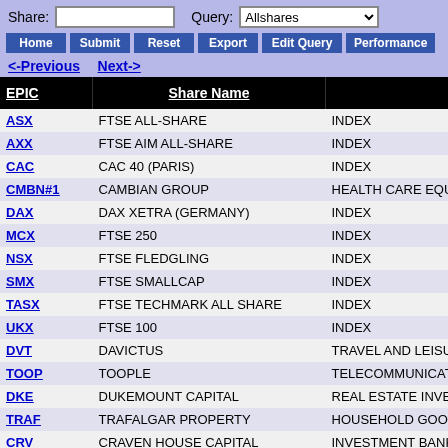Share: [input] Query: Allshares
Home | Submit | Reset | Export | Edit Query | Performance
<-Previous  Next->
| EPIC | Share Name |  |
| --- | --- | --- |
| ASX | FTSE ALL-SHARE | INDEX |
| AXX | FTSE AIM ALL-SHARE | INDEX |
| CAC | CAC 40 (PARIS) | INDEX |
| CMBN#1 | CAMBIAN GROUP | HEALTH CARE EQUIPM |
| DAX | DAX XETRA (GERMANY) | INDEX |
| MCX | FTSE 250 | INDEX |
| NSX | FTSE FLEDGLING | INDEX |
| SMX | FTSE SMALLCAP | INDEX |
| TASX | FTSE TECHMARK ALL SHARE | INDEX |
| UKX | FTSE 100 | INDEX |
| DVT | DAVICTUS | TRAVEL AND LEISURE |
| TOOP | TOOPLE | TELECOMMUNICATION |
| DKE | DUKEMOUNT CAPITAL | REAL ESTATE INVESTM |
| TRAF | TRAFALGAR PROPERTY | HOUSEHOLD GOODS A |
| CRV | CRAVEN HOUSE CAPITAL | INVESTMENT BANKING |
| UKR | UKRPRODUCT GROUP | FOOD PRODUCERS |